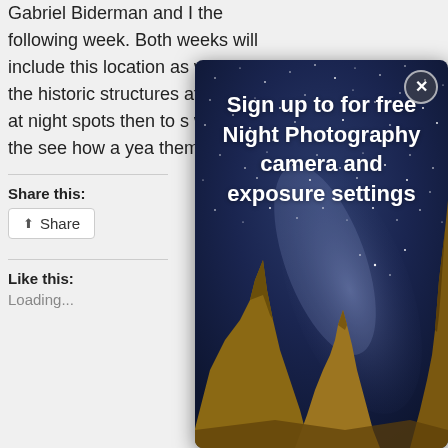Gabriel Biderman and I the following week. Both weeks will include this location as well as the historic structures at K limits at night spots then to s work with the see how a year them.
Share this:
Share
Like this:
Loading...
[Figure (photo): Night photography popup overlay showing tufa rock spires at Mono Lake under a Milky Way starry sky. White bold text reads 'Sign up to for free Night Photography camera and exposure settings'. A close button (X) is in the top right corner.]